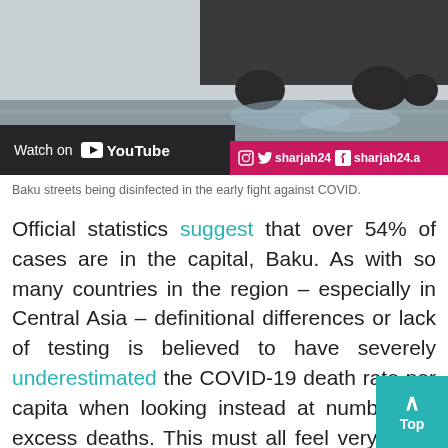[Figure (screenshot): Video thumbnail showing Baku streets being disinfected, with a 'Watch on YouTube' overlay button and a Sharjah24 social media bar at the bottom right.]
Baku streets being disinfected in the early fight against COVID.
Official statistics suggest that over 54% of cases are in the capital, Baku. As with so many countries in the region – especially in Central Asia – definitional differences or lack of testing is believed to have severely underestimated the COVID-19 death rate per capita when looking instead at numbers of excess deaths. This must all feel very ironic in a place that took very strong measures like disinfecting whole city streets and - especially in 2020 - took relatively draconian measures to enforce a tight lockdown. Most residents spent significant periods confined to their homes or to the nearest shops and the city's lit